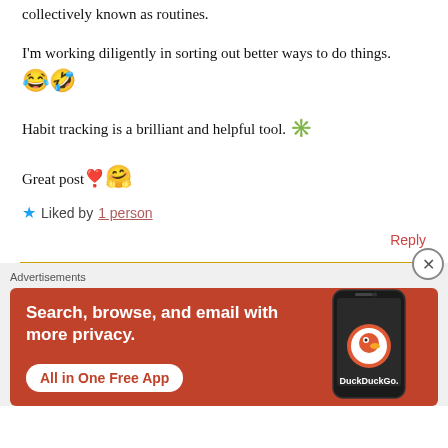collectively known as routines.
I'm working diligently in sorting out better ways to do things. 😂🤣
Habit tracking is a brilliant and helpful tool. 🌟
Great post❣️🤗
★ Liked by 1 person
Reply
Advertisements
[Figure (screenshot): DuckDuckGo advertisement banner: orange background with text 'Search, browse, and email with more privacy. All in One Free App' and a phone image with DuckDuckGo logo]